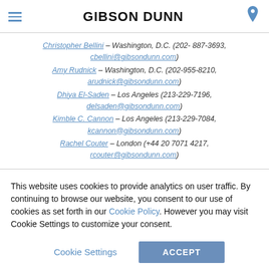GIBSON DUNN
Christopher Bellini – Washington, D.C. (202-887-3693, cbellini@gibsondunn.com)
Amy Rudnick – Washington, D.C. (202-955-8210, arudnick@gibsondunn.com)
Dhiya El-Saden – Los Angeles (213-229-7196, delsaden@gibsondunn.com)
Kimble C. Cannon – Los Angeles (213-229-7084, kcannon@gibsondunn.com)
Rachel Couter – London (+44 20 7071 4217, rcouter@gibsondunn.com)
This website uses cookies to provide analytics on user traffic. By continuing to browse our website, you consent to our use of cookies as set forth in our Cookie Policy. However you may visit Cookie Settings to customize your consent.